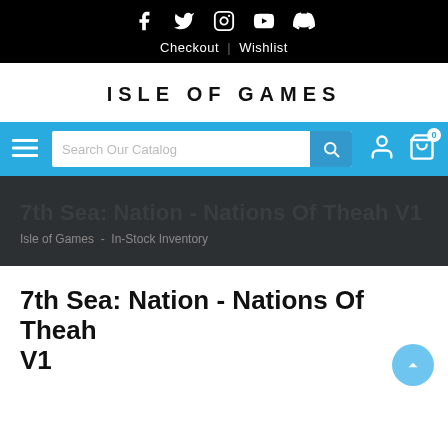Social icons: Facebook, Twitter, Instagram, YouTube, Discord | Checkout | Wishlist
ISLE OF GAMES
[Figure (screenshot): Navigation bar with hamburger menu, search box reading 'Search Our Catalog', search button, user icon, and cart icon with badge '0']
7th Sea: Nation - Nations Of Theah V1
Isle of Games  -  In-Stock Inventory
7th Sea: Nation - Nations Of Theah V1